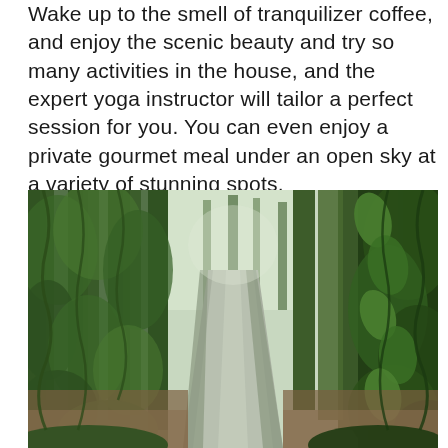Wake up to the smell of tranquilizer coffee, and enjoy the scenic beauty and try so many activities in the house, and the expert yoga instructor will tailor a perfect session for you. You can even enjoy a private gourmet meal under an open sky at a variety of stunning spots.
[Figure (photo): A lush green forest path winding through tall trees covered in dense climbing vines and foliage, with coffee plants lining both sides of a narrow paved road.]